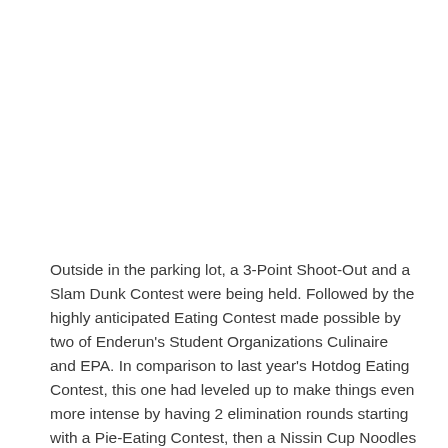Outside in the parking lot, a 3-Point Shoot-Out and a Slam Dunk Contest were being held. Followed by the highly anticipated Eating Contest made possible by two of Enderun's Student Organizations Culinaire and EPA. In comparison to last year's Hotdog Eating Contest, this one had leveled up to make things even more intense by having 2 elimination rounds starting with a Pie-Eating Contest, then a Nissin Cup Noodles Challenge, which lead to the final round of a Mixed-Medium Food Challenge consisting of a Bottle of Gatorade, a Bag of Magic Chips,